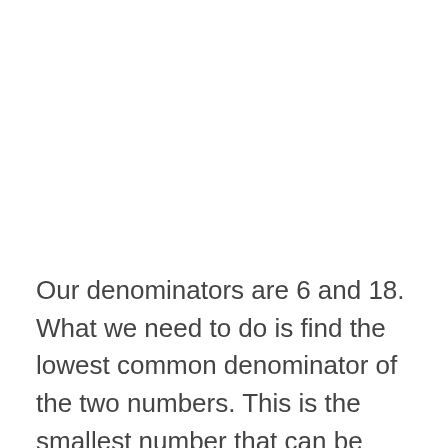Our denominators are 6 and 18. What we need to do is find the lowest common denominator of the two numbers. This is the smallest number that can be divided by both 6 and 18. In this case, the lowest common denominator is 18.